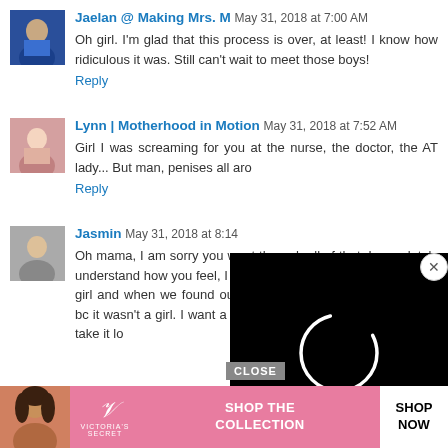[Figure (photo): Avatar of Jaelan, woman in blue]
Jaelan @ Making Mrs. M May 31, 2018 at 7:00 AM
Oh girl. I'm glad that this process is over, at least! I know how ridiculous it was. Still can't wait to meet those boys!
Reply
[Figure (photo): Avatar of Lynn, woman in pink]
Lynn | Motherhood in Motion May 31, 2018 at 7:52 AM
Girl I was screaming for you at the nurse, the doctor, the AT lady... But man, penises all aro
Reply
Jasmin May 31, 2018 at 8:14
Oh mama, I am sorry you went through all of that. I completely understand how you feel, I was dead set that my second was a girl and when we found out it was a boy, I basically mourned bc it wasn't a girl. I want a girl so bad but I am t of getting p n't take it lo
[Figure (screenshot): Black video loading overlay with spinning circle indicator and close button]
[Figure (infographic): Victoria's Secret advertisement banner: SHOP THE COLLECTION with SHOP NOW button]